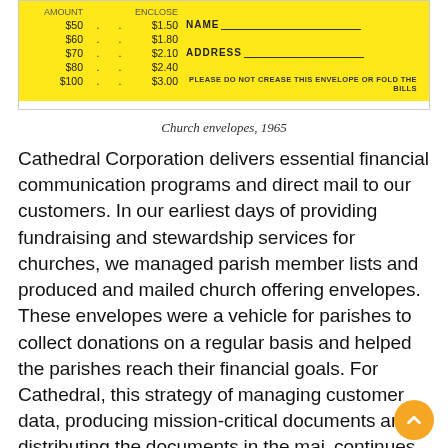[Figure (photo): Yellow church envelope from 1965 showing a table of dollar amounts ($50-$100) with corresponding fees ($1.50-$3.00), and fields for Name and Address with the note 'PLEASE DO NOT CREASE THIS ENVELOPE OR FOLD THE BILLS']
Church envelopes, 1965
Cathedral Corporation delivers essential financial communication programs and direct mail to our customers. In our earliest days of providing fundraising and stewardship services for churches, we managed parish member lists and produced and mailed church offering envelopes. These envelopes were a vehicle for parishes to collect donations on a regular basis and helped the parishes reach their financial goals. For Cathedral, this strategy of managing customer data, producing mission-critical documents and distributing the documents in the mail continues today as one of the company's core